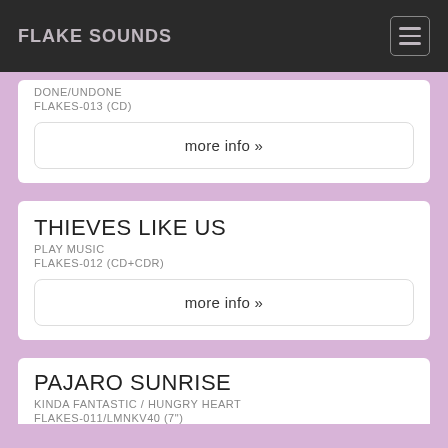FLAKE SOUNDS
DONE/UNDONE
FLAKES-013 (CD)
more info »
THIEVES LIKE US
PLAY MUSIC
FLAKES-012 (CD+CDR)
more info »
PAJARO SUNRISE
KINDA FANTASTIC / HUNGRY HEART
FLAKES-011/LMNKV40 (7")